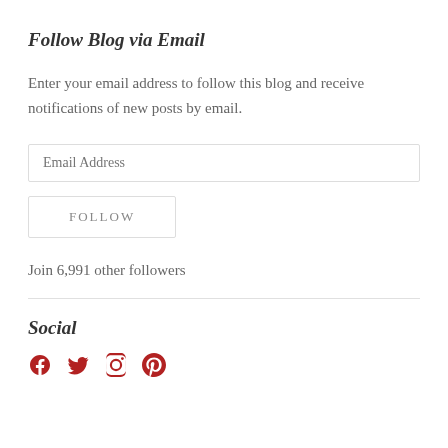Follow Blog via Email
Enter your email address to follow this blog and receive notifications of new posts by email.
[Figure (screenshot): Email address input field with placeholder text 'Email Address']
[Figure (screenshot): Follow button with text 'FOLLOW']
Join 6,991 other followers
Social
[Figure (infographic): Social media icons: Facebook, Twitter, Instagram, Pinterest in red/crimson color]